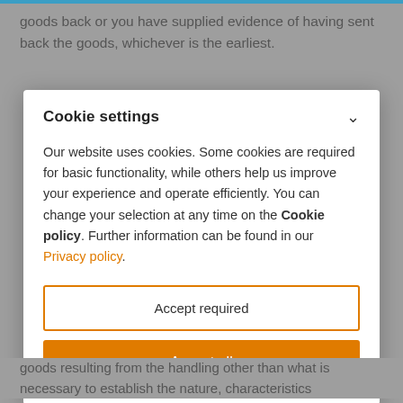goods back or you have supplied evidence of having sent back the goods, whichever is the earliest.
Cookie settings
Our website uses cookies. Some cookies are required for basic functionality, while others help us improve your experience and operate efficiently. You can change your selection at any time on the Cookie policy. Further information can be found in our Privacy policy.
Accept required
Accept all
goods resulting from the handling other than what is necessary to establish the nature, characteristics